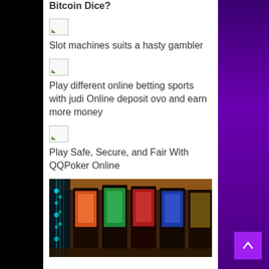What Is Cryptocurrency And Bitcoin Dice?
[Figure (photo): Broken image placeholder icon]
Slot machines suits a hasty gambler
[Figure (photo): Broken image placeholder icon]
Play different online betting sports with judi Online deposit ovo and earn more money
[Figure (photo): Broken image placeholder icon]
Play Safe, Secure, and Fair With QQPoker Online
[Figure (photo): Casino slot machines interior photo]